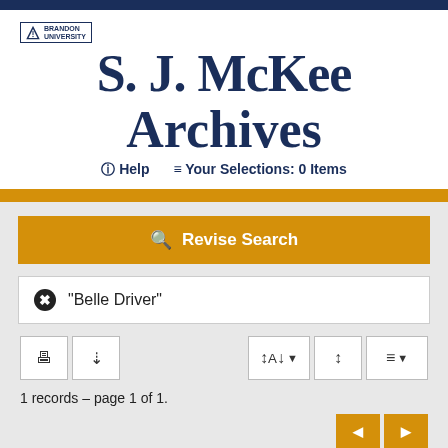S. J. McKee Archives
Help   Your Selections: 0 Items
Revise Search
"Belle Driver"
1 records – page 1 of 1.